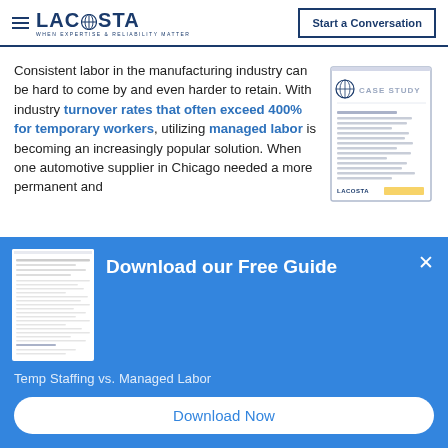LACOSTA — When Expertise & Reliability Matter | Start a Conversation
Consistent labor in the manufacturing industry can be hard to come by and even harder to retain. With industry turnover rates that often exceed 400% for temporary workers, utilizing managed labor is becoming an increasingly popular solution. When one automotive supplier in Chicago needed a more permanent and
[Figure (other): Case Study document thumbnail with Lacosta logo]
[Figure (other): Blue overlay popup: Download our Free Guide — Temp Staffing vs. Managed Labor]
Temp Staffing vs. Managed Labor
Download Now